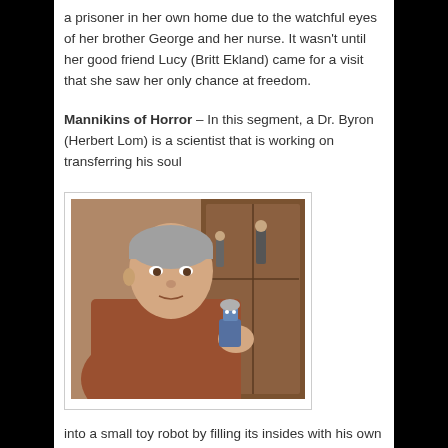a prisoner in her own home due to the watchful eyes of her brother George and her nurse. It wasn't until her good friend Lucy (Britt Ekland) came for a visit that she saw her only chance at freedom.
Mannikins of Horror – In this segment, a Dr. Byron (Herbert Lom) is a scientist that is working on transferring his soul
[Figure (photo): A man with grey hair wearing a rust/brown robe or tunic over a collared shirt, holding a small toy robot figure, standing in front of a wooden cabinet with small figurines visible inside.]
into a small toy robot by filling its insides with his own